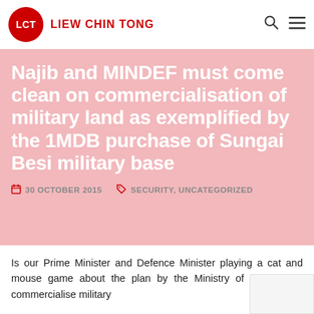LCT LIEW CHIN TONG
Najib and MINDEF must come clean on commercialisation of military land as exemplified by the 1MDB purchase of Sungai Besi military base
30 OCTOBER 2015   SECURITY, UNCATEGORIZED
Is our Prime Minister and Defence Minister playing a cat and mouse game about the plan by the Ministry of Defence to commercialise military